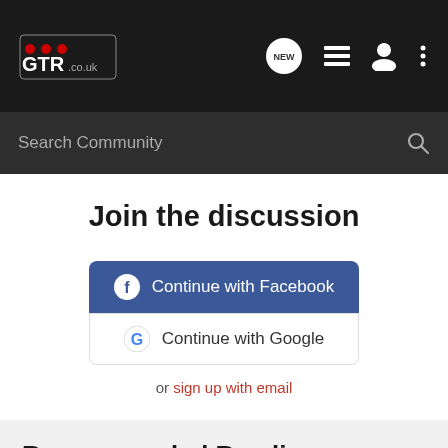[Figure (logo): GTR.co.uk logo with car silhouette on dark navbar]
Search Community
Join the discussion
Continue with Facebook
Continue with Google
or sign up with email
Recommended Reading
Respect from bikers